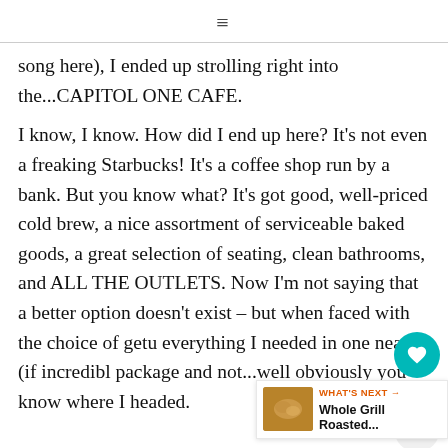≡
song here), I ended up strolling right into the...CAPITOL ONE CAFE.
I know, I know. How did I end up here? It's not even a freaking Starbucks! It's a coffee shop run by a bank. But you know what? It's got good, well-priced cold brew, a nice assortment of serviceable baked goods, a great selection of seating, clean bathrooms, and ALL THE OUTLETS. Now I'm not saying that a better option doesn't exist – but when faced with the choice of getu everything I needed in one neat (if incredibl package and not...well obviously you know where I headed.